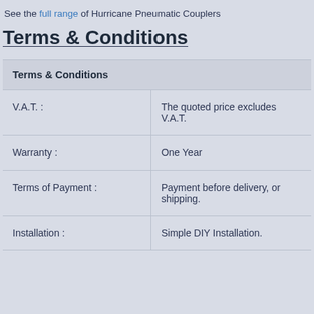See the full range of Hurricane Pneumatic Couplers
Terms & Conditions
| Terms & Conditions |  |
| --- | --- |
| V.A.T. : | The quoted price excludes V.A.T. |
| Warranty : | One Year |
| Terms of Payment : | Payment before delivery, or shipping. |
| Installation : | Simple DIY Installation. |